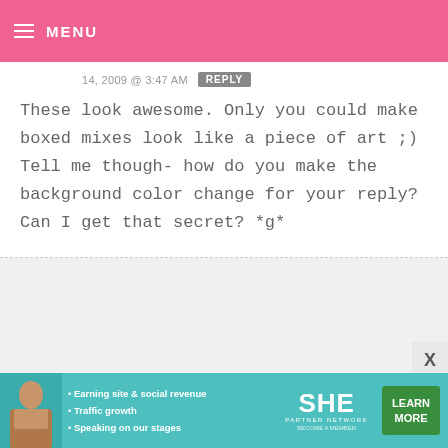MENU
14, 2009 @ 3:47 AM   REPLY
These look awesome. Only you could make boxed mixes look like a piece of art ;) Tell me though- how do you make the background color change for your reply? Can I get that secret? *g*
BAKERELLA — JANUARY 14, 2009 @ 3:40 AM   REPLY
Stephanie – Yep, now you don't have to feel guilty.
[Figure (infographic): SHE Partner Network advertisement banner with woman photo, bullet points: Earning site & social revenue, Traffic growth, Speaking on our stages. LEARN MORE button.]